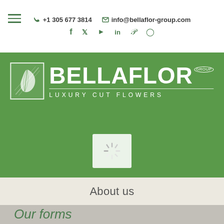+1 305 677 3814  info@bellaflor-group.com
[Figure (logo): BellaFlor Group Luxury Cut Flowers logo with white leaf icon in bordered square and bold white text on green background]
[Figure (screenshot): Loading spinner icon in white rounded box on green background]
About us
Our forms